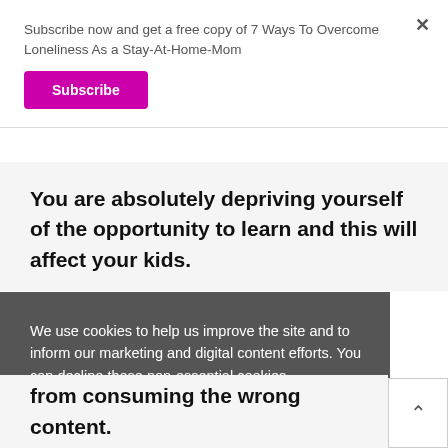Subscribe now and get a free copy of 7 Ways To Overcome Loneliness As a Stay-At-Home-Mom
Subscribe
You are absolutely depriving yourself of the opportunity to learn and this will affect your kids.
We use cookies to help us improve the site and to inform our marketing and digital content efforts. You can decline these non-essential cookies.
Decline
Allow
from consuming the wrong content.